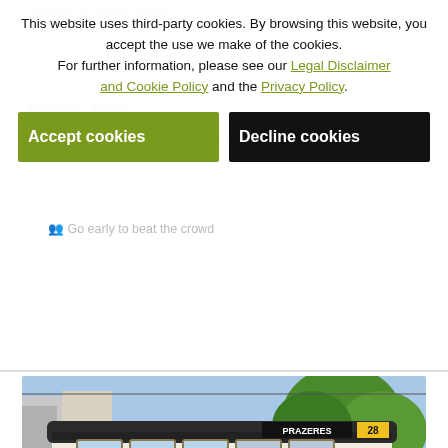quickly, so arrive early!
Good Tips:
Keep a close eye on your belongings
Go early to beat the crowd
This website uses third-party cookies. By browsing this website, you accept the use we make of the cookies. For further information, please see our Legal Disclaimer and Cookie Policy and the Privacy Policy.
Accept cookies
Decline cookies
[Figure (photo): A yellow and black vintage Tram 28 (Prazeres line, number 555) on a Lisbon street, with advertisements for Pastel de Bacalhau and Vinho Madeira on its sides. Trees visible in background. Caption reads: TRAM 28 / Photo by Enrico Strocchi]